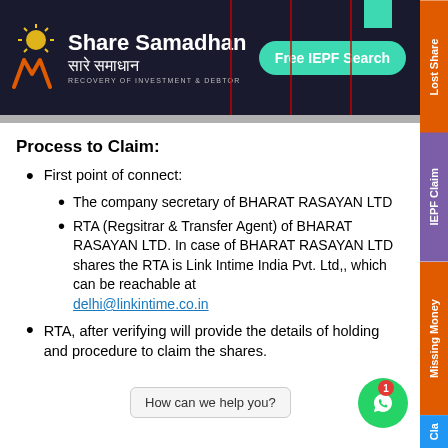[Figure (logo): Share Samadhan logo with banner showing brand name in English and Hindi, RECOVERY OF INVESTMENT & DEBTOR tagline, and Free IEPF Search button]
Process to Claim:
First point of connect:
The company secretary of BHARAT RASAYAN LTD
RTA (Regsitrar & Transfer Agent) of BHARAT RASAYAN LTD. In case of BHARAT RASAYAN LTD shares the RTA is Link Intime India Pvt. Ltd,, which can be reachable at delhi@linkintime.co.in
RTA, after verifying will provide the details of holding and procedure to claim the shares.